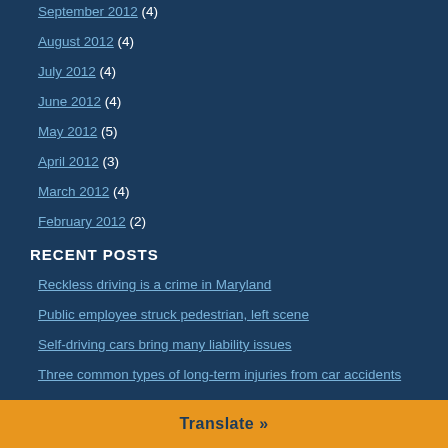September 2012 (4)
August 2012 (4)
July 2012 (4)
June 2012 (4)
May 2012 (5)
April 2012 (3)
March 2012 (4)
February 2012 (2)
RECENT POSTS
Reckless driving is a crime in Maryland
Public employee struck pedestrian, left scene
Self-driving cars bring many liability issues
Three common types of long-term injuries from car accidents
Translate »